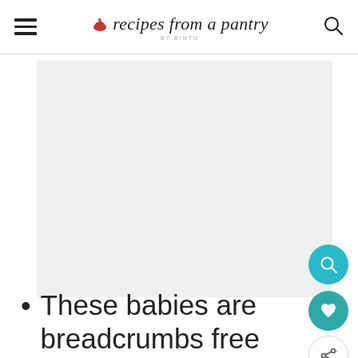recipes from a pantry BY BINTU
[Figure (photo): Large image placeholder area with light gray background, part of a food recipe blog post]
These babies are breadcrumbs free